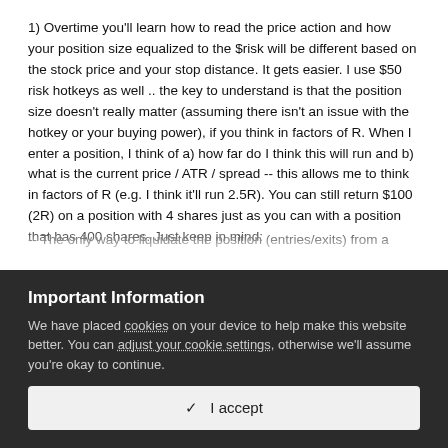1) Overtime you'll learn how to read the price action and how your position size equalized to the $risk will be different based on the stock price and your stop distance. It gets easier.  I use $50 risk hotkeys as well .. the key to understand is that the position size doesn't really matter (assuming there isn't an issue with the hotkey or your buying power), if you think in factors of R. When I enter a position, I think of a) how far do I think this will run and b) what is the current price / ATR / spread -- this allows me to think in factors of R (e.g. I think it'll run 2.5R). You can still return $100 (2R) on a position with 4 shares just as you can with a position that has 400 shares. Just keep in mind:
-- The only way to liquidate the position (entries/exits) from a set...
Important Information
We have placed cookies on your device to help make this website better. You can adjust your cookie settings, otherwise we'll assume you're okay to continue.
✓  I accept